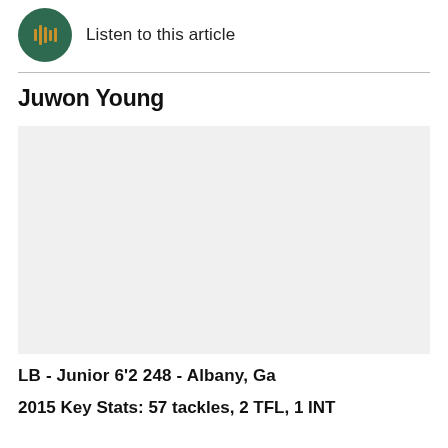[Figure (other): Green circular play button with orange/gold sound wave bars icon, with 'Listen to this article' text to the right]
Juwon Young
[Figure (photo): Light gray placeholder photo area for Juwon Young]
LB - Junior 6'2 248 - Albany, Ga
2015 Key Stats: 57 tackles, 2 TFL, 1 INT